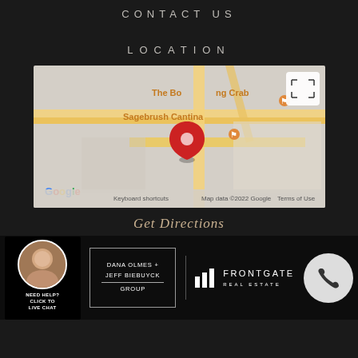CONTACT US
LOCATION
[Figure (map): Google Maps embed showing area near Sagebrush Cantina and The Banning Crab, with a red location pin marker. Map footer shows: Keyboard shortcuts | Map data ©2022 Google | Terms of Use]
Get Directions
[Figure (infographic): Footer bar with: live chat widget (woman photo, NEED HELP? CLICK TO LIVE CHAT), Dana Olmes + Jeff Biebuyck Group logo, Frontgate Real Estate logo with bar chart icon, and phone call button circle]